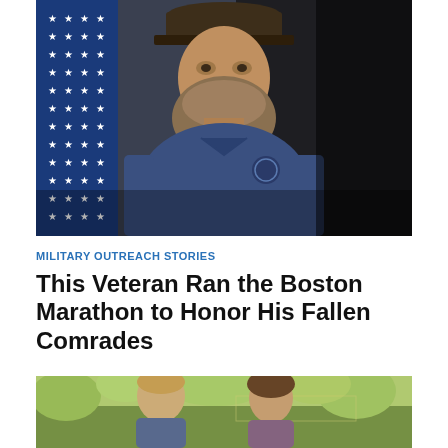[Figure (photo): A bearded veteran man wearing a dark baseball cap and blue long-sleeve shirt with a logo, standing beside an American flag with white stars on blue background. Dark background behind him.]
MILITARY OUTREACH STORIES
This Veteran Ran the Boston Marathon to Honor His Fallen Comrades
[Figure (photo): Two people (a man and a woman) photographed outdoors with green foliage in the background, partially visible at bottom of page.]